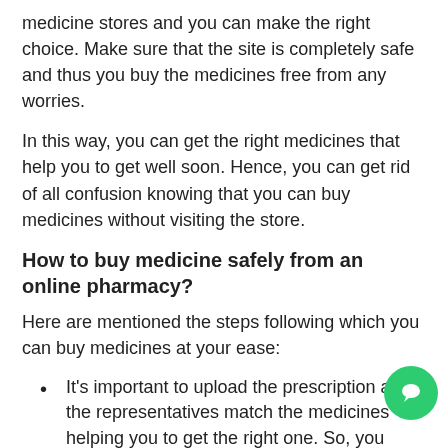medicine stores and you can make the right choice. Make sure that the site is completely safe and thus you buy the medicines free from any worries.
In this way, you can get the right medicines that help you to get well soon. Hence, you can get rid of all confusion knowing that you can buy medicines without visiting the store.
How to buy medicine safely from an online pharmacy?
Here are mentioned the steps following which you can buy medicines at your ease:
It's important to upload the prescription and the representatives match the medicines helping you to get the right one. So, you need to get a prescription that enables you to make a safe purchase.
Before you make a final purchase, you must know the ingredients that make you feel confident knowing that you won't face any side-effects. You can easily find the product description and thus you can buy your